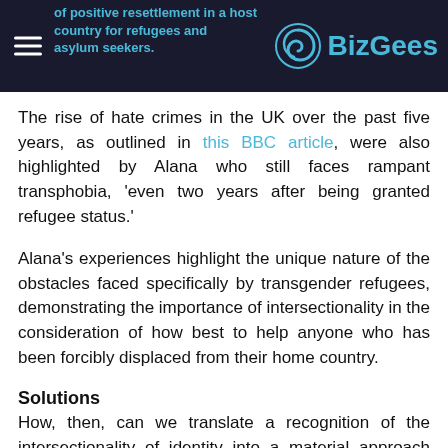of positive resettlement in a host country for refugees and asylum seekers. BizGees
The rise of hate crimes in the UK over the past five years, as outlined in this BBC article, were also highlighted by Alana who still faces rampant transphobia, 'even two years after being granted refugee status.'
Alana's experiences highlight the unique nature of the obstacles faced specifically by transgender refugees, demonstrating the importance of intersectionality in the consideration of how best to help anyone who has been forcibly displaced from their home country.
Solutions
How, then, can we translate a recognition of the intersectionality of identity into a material approach towards the identity-building and integration of individual refugees?